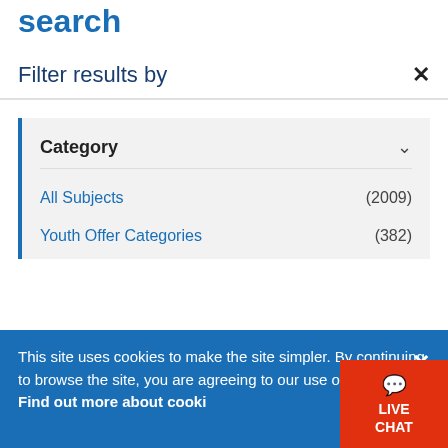search
Filter results by
Category
All Subjects (2009)
Youth Offer Categories (382)
Sorted by: Name
Show results on map
This site uses cookies to make the site simpler. By continuing to browse the site, you are agreeing to our use of cookies. Find out more about cookies